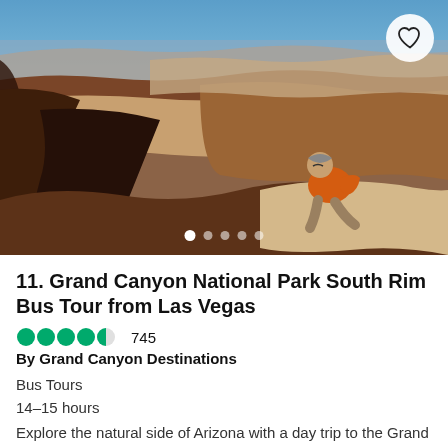[Figure (photo): A man in an orange shirt and bandana sits on the rim of the Grand Canyon, overlooking the vast canyon landscape with red rock formations and blue sky. Image carousel dots visible at the bottom, heart/save button in top right corner.]
11. Grand Canyon National Park South Rim Bus Tour from Las Vegas
By Grand Canyon Destinations
Bus Tours
14-15 hours
Explore the natural side of Arizona with a day trip to the Grand Canyon National Park South Rim on our luxury bus tour. ...